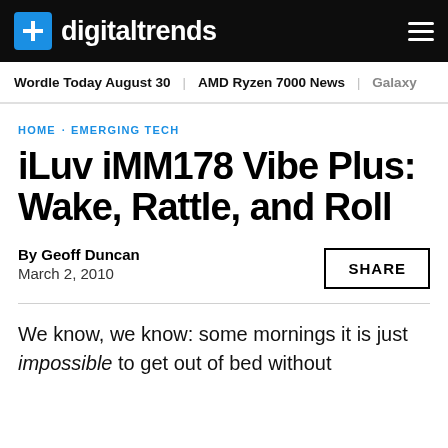digitaltrends
Wordle Today August 30 · AMD Ryzen 7000 News · Galaxy
HOME · EMERGING TECH
iLuv iMM178 Vibe Plus: Wake, Rattle, and Roll
By Geoff Duncan
March 2, 2010
We know, we know: some mornings it is just impossible to get out of bed without